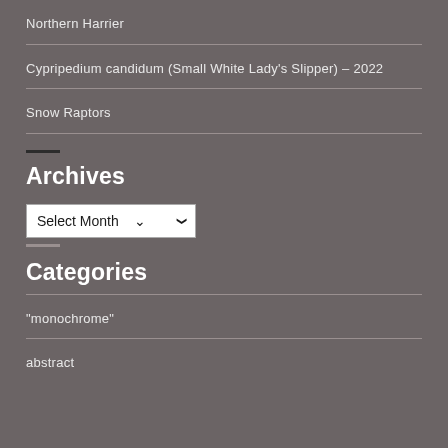Northern Harrier
Cypripedium candidum (Small White Lady's Slipper) – 2022
Snow Raptors
Archives
Select Month
Categories
"monochrome"
abstract